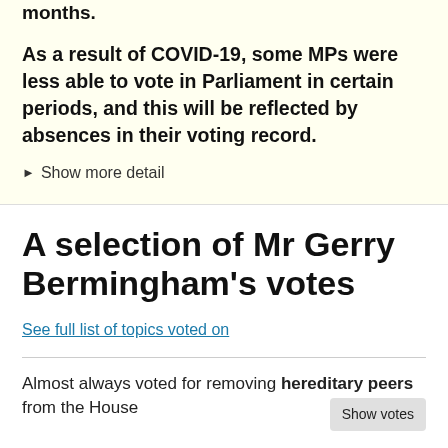months.
As a result of COVID-19, some MPs were less able to vote in Parliament in certain periods, and this will be reflected by absences in their voting record.
▶ Show more detail
A selection of Mr Gerry Bermingham's votes
See full list of topics voted on
Almost always voted for removing hereditary peers from the House
Show votes